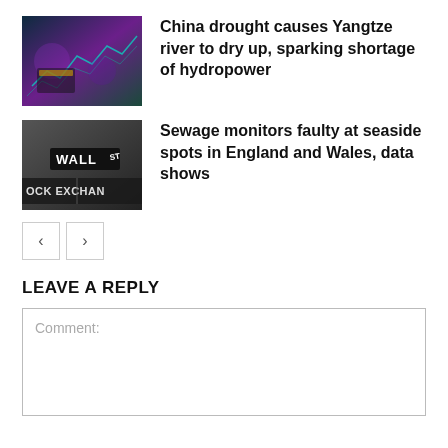[Figure (photo): Colorful abstract image with financial charts and purple/teal colors]
China drought causes Yangtze river to dry up, sparking shortage of hydropower
[Figure (photo): Wall Street and Stock Exchange sign in black and white]
Sewage monitors faulty at seaside spots in England and Wales, data shows
LEAVE A REPLY
Comment: